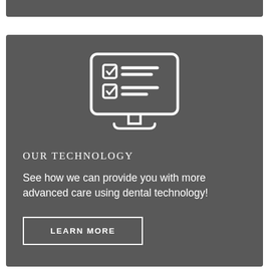[Figure (illustration): White outline icon of a desktop computer monitor displaying a checklist with two checkboxes (both checked with checkmarks) and horizontal lines representing text items, on a dark grey background]
OUR TECHNOLOGY
See how we can provide you with more advanced care using dental technology!
LEARN MORE